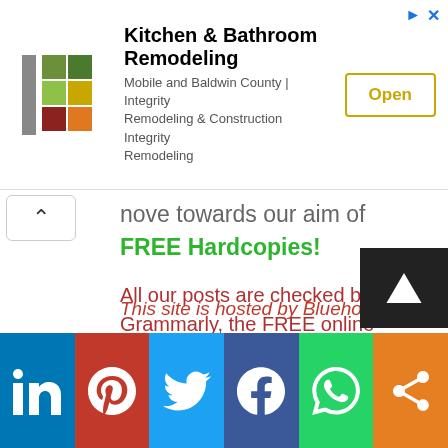[Figure (screenshot): Advertisement banner for Kitchen & Bathroom Remodeling — Mobile and Baldwin County, Integrity Remodeling & Construction Integrity Remodeling, with an Open button]
nove towards our aim of
FREE Hardcopies!
All our posts are checked by Grammarly, the FREE online grammar checker (We still receive a donation even if you only sign up for the free account :-):
This site is hosted by Bluehost:
[Figure (screenshot): Social media share bar with LinkedIn, Pinterest, Twitter, Facebook, WhatsApp, and share icons]